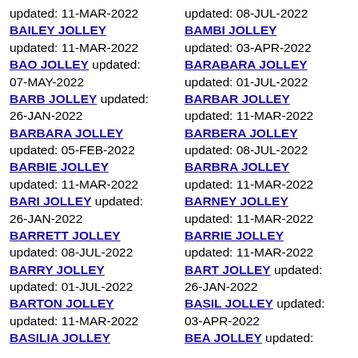updated: 11-MAR-2022 BAILEY JOLLEY updated: 11-MAR-2022
BAO JOLLEY updated: 07-MAY-2022
BARB JOLLEY updated: 26-JAN-2022
BARBARA JOLLEY updated: 05-FEB-2022
BARBIE JOLLEY updated: 11-MAR-2022
BARI JOLLEY updated: 26-JAN-2022
BARRETT JOLLEY updated: 08-JUL-2022
BARRY JOLLEY updated: 01-JUL-2022
BARTON JOLLEY updated: 11-MAR-2022
BASILIA JOLLEY
updated: 08-JUL-2022 BAMBI JOLLEY updated: 03-APR-2022
BARABARA JOLLEY updated: 01-JUL-2022
BARBAR JOLLEY updated: 11-MAR-2022
BARBERA JOLLEY updated: 08-JUL-2022
BARBRA JOLLEY updated: 11-MAR-2022
BARNEY JOLLEY updated: 11-MAR-2022
BARRIE JOLLEY updated: 11-MAR-2022
BART JOLLEY updated: 26-JAN-2022
BASIL JOLLEY updated: 03-APR-2022
BEA JOLLEY updated: